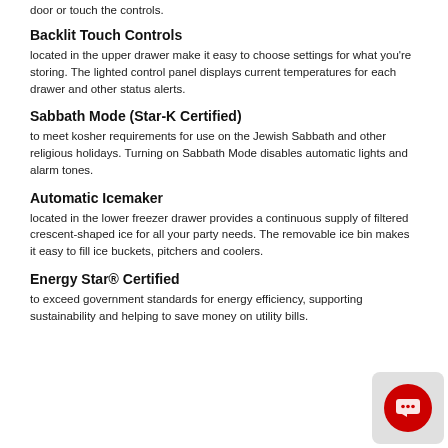door or touch the controls.
Backlit Touch Controls
located in the upper drawer make it easy to choose settings for what you're storing. The lighted control panel displays current temperatures for each drawer and other status alerts.
Sabbath Mode (Star-K Certified)
to meet kosher requirements for use on the Jewish Sabbath and other religious holidays. Turning on Sabbath Mode disables automatic lights and alarm tones.
Automatic Icemaker
located in the lower freezer drawer provides a continuous supply of filtered crescent-shaped ice for all your party needs. The removable ice bin makes it easy to fill ice buckets, pitchers and coolers.
Energy Star® Certified
to exceed government standards for energy efficiency, supporting sustainability and helping to save money on utility bills.